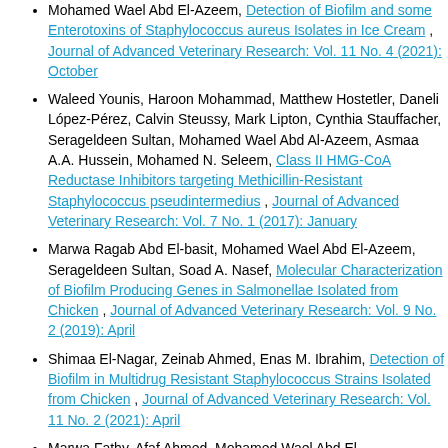Mohamed Wael Abd El-Azeem, Detection of Biofilm and some Enterotoxins of Staphylococcus aureus Isolates in Ice Cream , Journal of Advanced Veterinary Research: Vol. 11 No. 4 (2021): October
Waleed Younis, Haroon Mohammad, Matthew Hostetler, Daneli López-Pérez, Calvin Steussy, Mark Lipton, Cynthia Stauffacher, Serageldeen Sultan, Mohamed Wael Abd Al-Azeem, Asmaa A.A. Hussein, Mohamed N. Seleem, Class II HMG-CoA Reductase Inhibitors targeting Methicillin-Resistant Staphylococcus pseudintermedius , Journal of Advanced Veterinary Research: Vol. 7 No. 1 (2017): January
Marwa Ragab Abd El-basit, Mohamed Wael Abd El-Azeem, Serageldeen Sultan, Soad A. Nasef, Molecular Characterization of Biofilm Producing Genes in Salmonellae Isolated from Chicken , Journal of Advanced Veterinary Research: Vol. 9 No. 2 (2019): April
Shimaa El-Nagar, Zeinab Ahmed, Enas M. Ibrahim, Detection of Biofilm in Multidrug Resistant Staphylococcus Strains Isolated from Chicken , Journal of Advanced Veterinary Research: Vol. 11 No. 2 (2021): April
Marwa Fathy, Afaf Ahmed, Mohamed Wael Abd El-